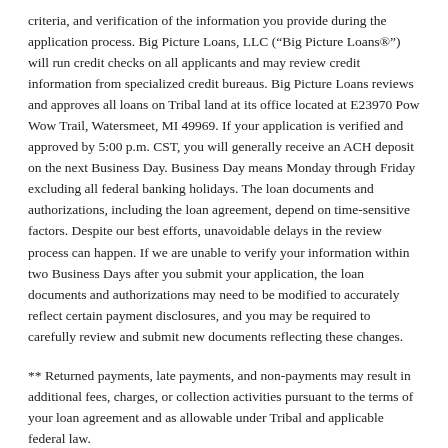criteria, and verification of the information you provide during the application process. Big Picture Loans, LLC (“Big Picture Loans®”) will run credit checks on all applicants and may review credit information from specialized credit bureaus. Big Picture Loans reviews and approves all loans on Tribal land at its office located at E23970 Pow Wow Trail, Watersmeet, MI 49969. If your application is verified and approved by 5:00 p.m. CST, you will generally receive an ACH deposit on the next Business Day. Business Day means Monday through Friday excluding all federal banking holidays. The loan documents and authorizations, including the loan agreement, depend on time-sensitive factors. Despite our best efforts, unavoidable delays in the review process can happen. If we are unable to verify your information within two Business Days after you submit your application, the loan documents and authorizations may need to be modified to accurately reflect certain payment disclosures, and you may be required to carefully review and submit new documents reflecting these changes.
** Returned payments, late payments, and non-payments may result in additional fees, charges, or collection activities pursuant to the terms of your loan agreement and as allowable under Tribal and applicable federal law.
*** Big Picture Loans is a wholly owned subsidiary of Tribal Economic Development Holdings, LLC and all loans are issued, approved, and managed on Tribal land of the